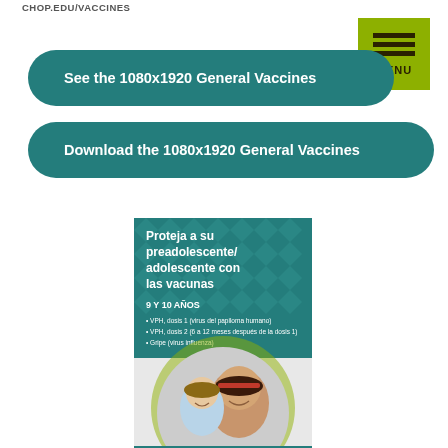CHOP.EDU/VACCINES
See the 1080x1920 General Vaccines
Download the 1080x1920 General Vaccines
[Figure (illustration): Spanish-language vaccine information poster showing text 'Proteja a su preadolescente/adolescente con las vacunas' with vaccine schedule for ages 9-10 years (VPH doses and Gripe), with a circular photo of two smiling girls.]